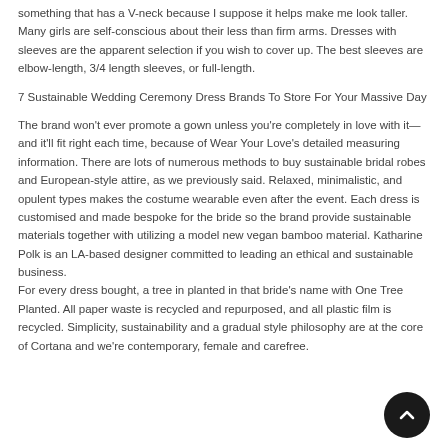something that has a V-neck because I suppose it helps make me look taller. Many girls are self-conscious about their less than firm arms. Dresses with sleeves are the apparent selection if you wish to cover up. The best sleeves are elbow-length, 3/4 length sleeves, or full-length.
7 Sustainable Wedding Ceremony Dress Brands To Store For Your Massive Day
The brand won't ever promote a gown unless you're completely in love with it—and it'll fit right each time, because of Wear Your Love's detailed measuring information. There are lots of numerous methods to buy sustainable bridal robes and European-style attire, as we previously said. Relaxed, minimalistic, and opulent types makes the costume wearable even after the event. Each dress is customised and made bespoke for the bride so the brand provide sustainable materials together with utilizing a model new vegan bamboo material. Katharine Polk is an LA-based designer committed to leading an ethical and sustainable business.
For every dress bought, a tree in planted in that bride's name with One Tree Planted. All paper waste is recycled and repurposed, and all plastic film is recycled. Simplicity, sustainability and a gradual style philosophy are at the core of Cortana and we're contemporary, female and carefree.